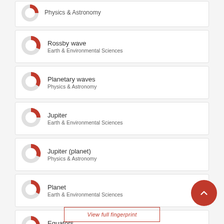Physics & Astronomy
Rossby wave
Earth & Environmental Sciences
Planetary waves
Physics & Astronomy
Jupiter
Earth & Environmental Sciences
Jupiter (planet)
Physics & Astronomy
Planet
Earth & Environmental Sciences
Equators
Physics & Astronomy
View full fingerprint